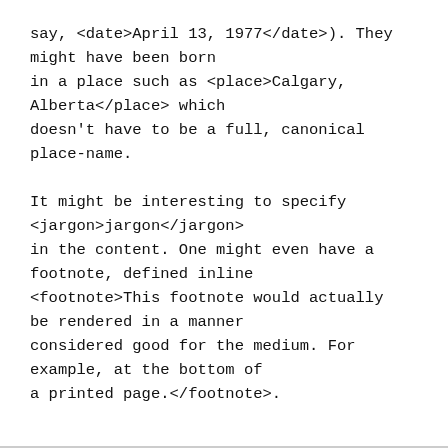say, <date>April 13, 1977</date>). They might have been born in a place such as <place>Calgary, Alberta</place> which doesn't have to be a full, canonical place-name.

It might be interesting to specify <jargon>jargon</jargon> in the content. One might even have a footnote, defined inline <footnote>This footnote would actually be rendered in a manner considered good for the medium. For example, at the bottom of a printed page.</footnote>.